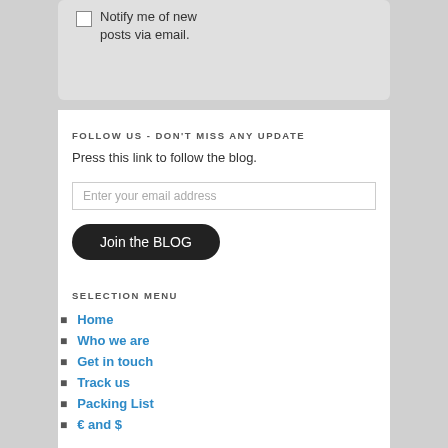Notify me of new posts via email.
FOLLOW US - DON'T MISS ANY UPDATE
Press this link to follow the blog.
Enter your email address
Join the BLOG
SELECTION MENU
Home
Who we are
Get in touch
Track us
Packing List
€ and $